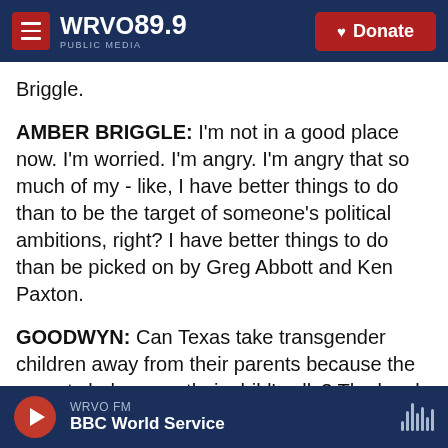WRVO 89.9 PUBLIC MEDIA | Donate
Briggle.
AMBER BRIGGLE: I'm not in a good place now. I'm worried. I'm angry. I'm angry that so much of my - like, I have better things to do than to be the target of someone's political ambitions, right? I have better things to do than be picked on by Greg Abbott and Ken Paxton.
GOODWYN: Can Texas take transgender children away from their parents because the parents behave as their child's ally? The legal issue will be argued in July.
WRVO FM | BBC World Service